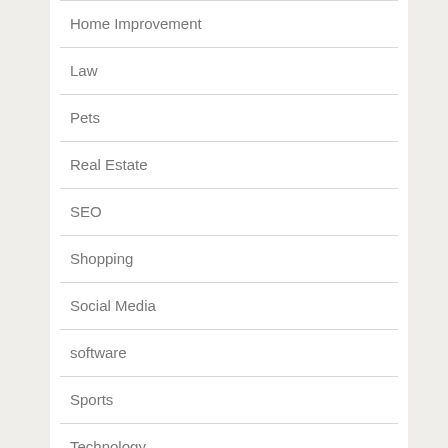Home Improvement
Law
Pets
Real Estate
SEO
Shopping
Social Media
software
Sports
Technology
Tourist